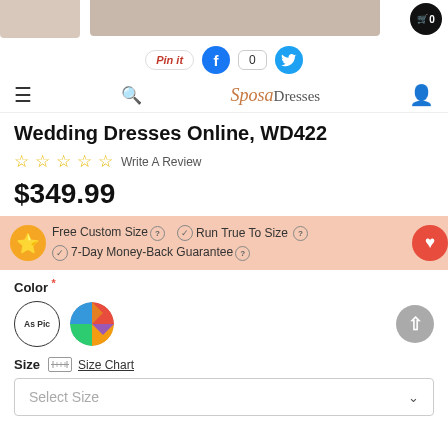[Figure (screenshot): Top portion of product images with cart icon showing count 0]
[Figure (screenshot): Social sharing bar with Pinterest Pin it button, Facebook icon with count 0, and Twitter icon]
SposasDresses navigation bar with hamburger menu, search, logo, and account icon
Wedding Dresses Online, WD422
☆☆☆☆☆ Write A Review
$349.99
Free Custom Size ⓘ  ⊙ Run True To Size ⓘ  ⊙ 7-Day Money-Back Guarantee ⓘ
Color *
Size  Size Chart
Select Size